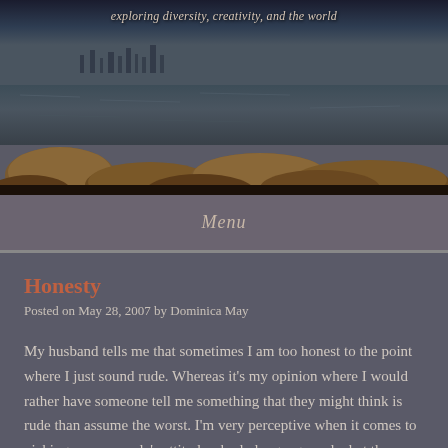[Figure (photo): A scenic photograph showing a dark waterfront/harbor with rocks in the foreground. City skyline faintly visible in the background at dusk or dawn. Warm amber/orange light on the rocks. Dark moody water in the middle.]
exploring diversity, creativity, and the world
Menu
Honesty
Posted on May 28, 2007 by Dominica May
My husband tells me that sometimes I am too honest to the point where I just sound rude. Whereas it's my opinion where I would rather have someone tell me something that they might think is rude than assume the worst. I'm very perceptive when it comes to picking up on people's attitudes, body language and what they